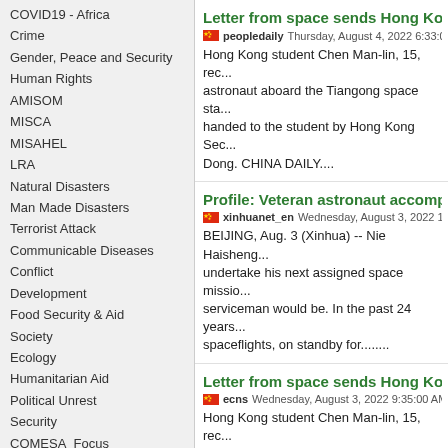COVID19 - Africa
Crime
Gender, Peace and Security
Human Rights
AMISOM
MISCA
MISAHEL
LRA
Natural Disasters
Man Made Disasters
Terrorist Attack
Communicable Diseases
Conflict
Development
Food Security & Aid
Society
Ecology
Humanitarian Aid
Political Unrest
Security
COMESA_Focus
Letter from space sends Hong Kong st...
peopledaily Thursday, August 4, 2022 6:33:00 AM E...
Hong Kong student Chen Man-lin, 15, rec... astronaut aboard the Tiangong space sta... handed to the student by Hong Kong Sec... Dong. CHINA DAILY....
Profile: Veteran astronaut accomplishi...
xinhuanet_en Wednesday, August 3, 2022 1:49:00 P...
BEIJING, Aug. 3 (Xinhua) -- Nie Haisheng... undertake his next assigned space missio... serviceman would be. In the past 24 years... spaceflights, on standby for........
Letter from space sends Hong Kong st...
ecns Wednesday, August 3, 2022 9:35:00 AM EAT |...
Hong Kong student Chen Man-lin, 15, rec... astronaut aboard the Tiangong space sta... handed to the student by Hong Kong Sec... Dong....
Debris from enormous Chinese rocket...
thenational Sunday, July 31, 2022 9:25:00 AM EAT...
Remnants of a Chinese rocket fell back to... the planet's atmosphere over the Indian O... rocket. China's largest rocket, which carr...